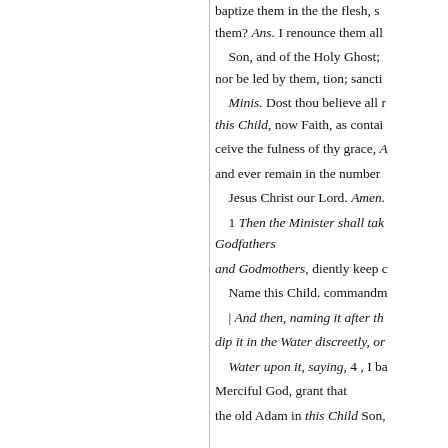baptize them in the the flesh, s them? Ans. I renounce them all Son, and of the Holy Ghost; nor be led by them, tion; sancti Minis. Dost thou believe all r this Child, now Faith, as contai ceive the fulness of thy grace, A and ever remain in the number  Jesus Christ our Lord. Amen. 1 Then the Minister shall tak Godfathers and Godmothers, diently keep c Name this Child. commandm | And then, naming it after th dip it in the Water discreetly, or Water upon it, saying, 4 , I ba Merciful God, grant that the old Adam in this Child Son, and shall be called Min